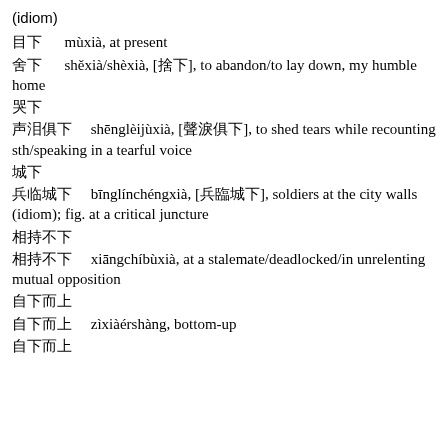(idiom)
目下　　mùxià, at present
舍下/舍下, [捨下], to abandon/to lay down, my humble home
哭下
声泪俱下　　shēnglèijùxià, [聲淚俱下], to shed tears while recounting sth/speaking in a tearful voice
城下
兵临城下　　bīnglínchéngxià, [兵臨城下], soldiers at the city walls (idiom); fig. at a critical juncture
相持不下　　xiāngchíbùxià, at a stalemate/deadlocked/in unrelenting mutual opposition
相持不下
自下而上　　zìxiàérshàng, bottom-up
自下而上